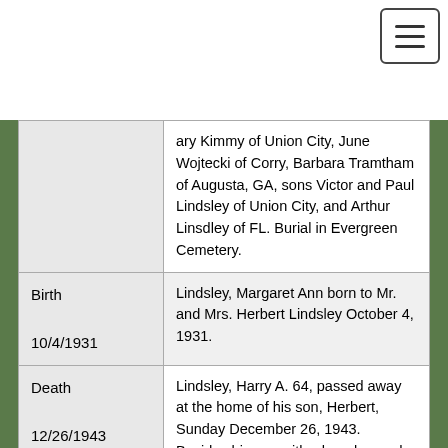| Type/Date | Record |
| --- | --- |
|  | ary Kimmy of Union City, June Wojtecki of Corry, Barbara Tramtham of Augusta, GA, sons Victor and Paul Lindsley of Union City, and Arthur Linsdley of FL. Burial in Evergreen Cemetery. |
| Birth
10/4/1931 | Lindsley, Margaret Ann born to Mr. and Mrs. Herbert Lindsley October 4, 1931. |
| Death
12/26/1943 | Lindsley, Harry A. 64, passed away at the home of his son, Herbert, Sunday December 26, 1943.  Besides his son with whom he made his home, the deceased is survived by another son, Arthur, and one sister, Mrs. Eva Avery, of Erie, PA |